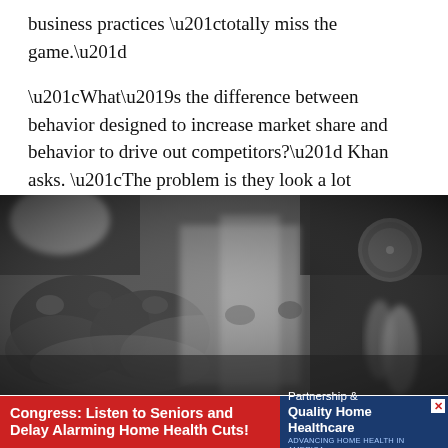business practices “totally miss the game.”
“What’s the difference between behavior designed to increase market share and behavior to drive out competitors?” Khan asks. “The problem is they look a lot alike.”
[Figure (photo): Black and white blurry photograph of a crowded room, possibly a meeting hall or conference, with people seated and a figure standing at the right near what appears to be a large circular clock or seal on the wall.]
Congress: Listen to Seniors and Delay Alarming Home Health Cuts! Partnership for Quality Home Healthcare